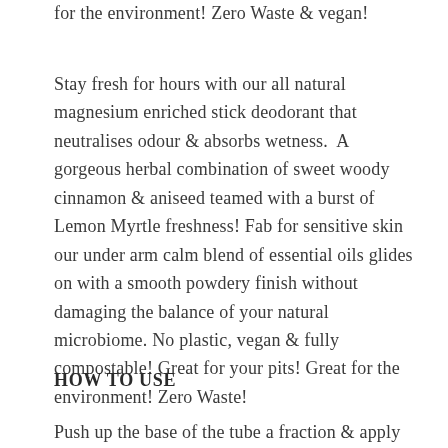for the environment! Zero Waste & vegan!
Stay fresh for hours with our all natural magnesium enriched stick deodorant that neutralises odour & absorbs wetness. A gorgeous herbal combination of sweet woody cinnamon & aniseed teamed with a burst of Lemon Myrtle freshness! Fab for sensitive skin our under arm calm blend of essential oils glides on with a smooth powdery finish without damaging the balance of your natural microbiome. No plastic, vegan & fully compostable! Great for your pits! Great for the environment! Zero Waste!
HOW TO USE
Push up the base of the tube a fraction & apply two to four